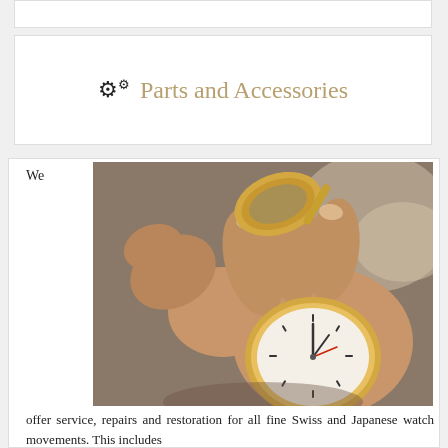Parts and Accessories
We
[Figure (photo): Close-up photograph of a watchmaker's hands holding a pocket watch, examining the watch face and movement with a loupe.]
offer service, repairs and restoration for all fine Swiss and Japanese watch movements. This includes